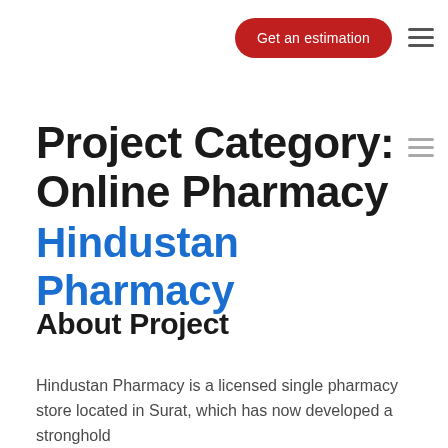Get an estimation
Project Category: Online Pharmacy
Hindustan Pharmacy
About Project
Hindustan Pharmacy is a licensed single pharmacy store located in Surat, which has now developed a stronghold